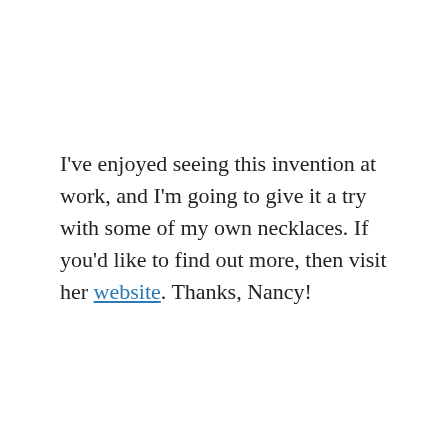I've enjoyed seeing this invention at work, and I'm going to give it a try with some of my own necklaces. If you'd like to find out more, then visit her website. Thanks, Nancy!